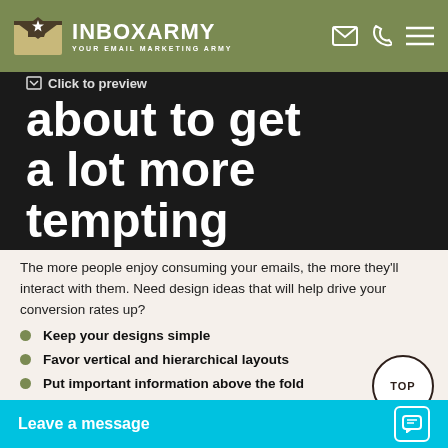InboxArmy — Your Email Marketing Army
[Figure (screenshot): Dark hero image with large white bold text reading 'about to get a lot more tempting' and a 'Click to preview' overlay label at top]
The more people enjoy consuming your emails, the more they'll interact with them. Need design ideas that will help drive your conversion rates up?
Keep your designs simple
Favor vertical and hierarchical layouts
Put important information above the fold
Make sure your C…
Design plays an imp…